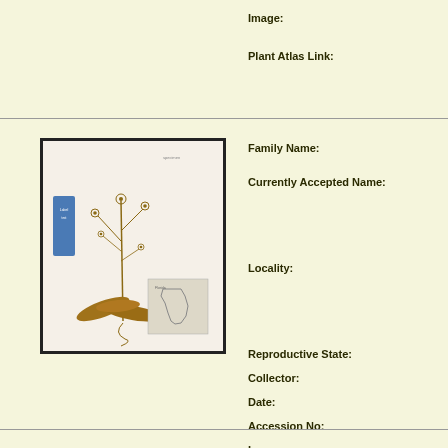Image:
Plant Atlas Link:
[Figure (photo): Herbarium specimen photograph showing a dried plant with slender stems, small round seed heads, and broad leaves at the base, mounted on white paper with a blue label and a Florida map inset in the lower right corner.]
Family Name:
Currently Accepted Name:
Locality:
Reproductive State:
Collector:
Date:
Accession No:
Image:
Plant Atlas Link: